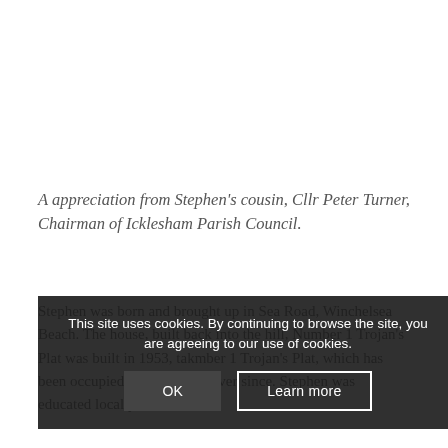A appreciation from Stephen's cousin, Cllr Peter Turner, Chairman of Icklesham Parish Council.
Stephen was born and brought up in Sea Road, Winchelsea Beach. The house, built back into the hill, Number 1 Trojan's Plat was built in 1953, taking the number 1 Trojan's Plat, which has been occupied by the family ever since. Stephen was educated locally at